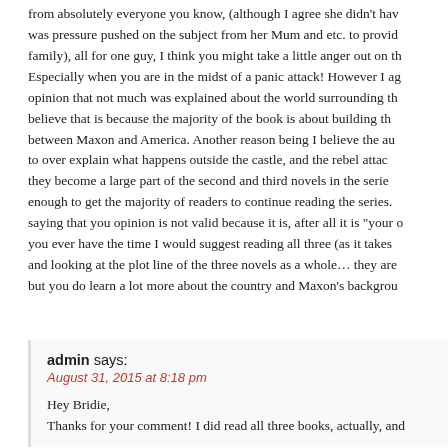from absolutely everyone you know, (although I agree she didn't have was pressure pushed on the subject from her Mum and etc. to provide family), all for one guy, I think you might take a little anger out on the Especially when you are in the midst of a panic attack! However I agree opinion that not much was explained about the world surrounding the believe that is because the majority of the book is about building the between Maxon and America. Another reason being I believe the author to over explain what happens outside the castle, and the rebel attacks they become a large part of the second and third novels in the series. enough to get the majority of readers to continue reading the series. saying that you opinion is not valid because it is, after all it is "your o you ever have the time I would suggest reading all three (as it takes and looking at the plot line of the three novels as a whole… they are but you do learn a lot more about the country and Maxon's background
REPLY
admin says:
August 31, 2015 at 8:18 pm
Hey Bridie,
Thanks for your comment! I did read all three books, actually, and